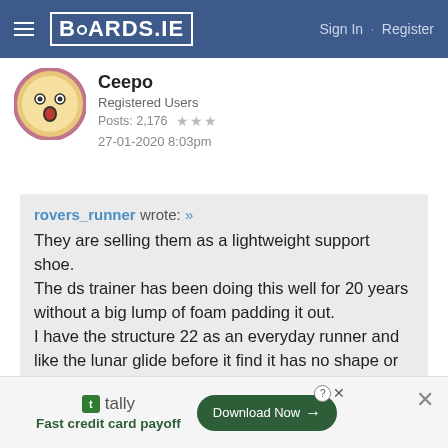BOARDS.IE  Sign In · Register
Ceepo
Registered Users
Posts: 2,176 ★★★
27-01-2020 8:03pm
rovers_runner wrote: »
They are selling them as a lightweight support shoe.
The ds trainer has been doing this well for 20 years without a big lump of foam padding it out.
I have the structure 22 as an everyday runner and like the lunar glide before it find it has no shape or structure to the upper, too flimsy.
tally Fast credit card payoff  Download Now →